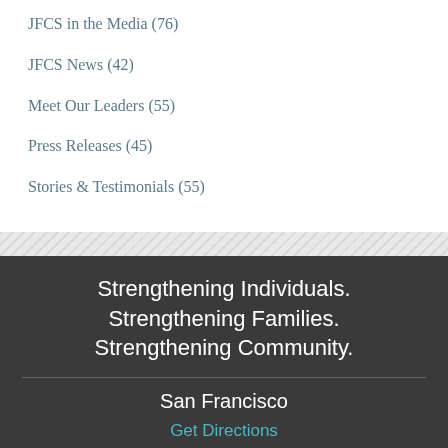JFCS in the Media (76)
JFCS News (42)
Meet Our Leaders (55)
Press Releases (45)
Stories & Testimonials (55)
Strengthening Individuals. Strengthening Families. Strengthening Community.
San Francisco
Get Directions